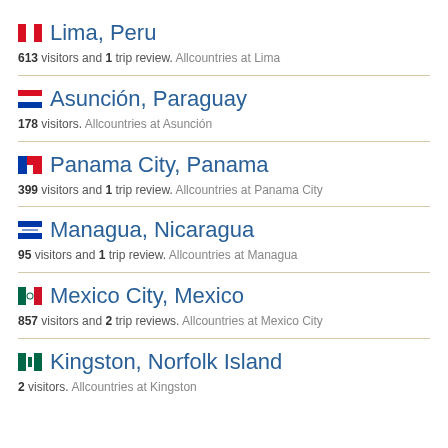Lima, Peru — 613 visitors and 1 trip review. Allcountries at Lima
Asunción, Paraguay — 178 visitors. Allcountries at Asunción
Panama City, Panama — 399 visitors and 1 trip review. Allcountries at Panama City
Managua, Nicaragua — 95 visitors and 1 trip review. Allcountries at Managua
Mexico City, Mexico — 857 visitors and 2 trip reviews. Allcountries at Mexico City
Kingston, Norfolk Island — 2 visitors. Allcountries at Kingston